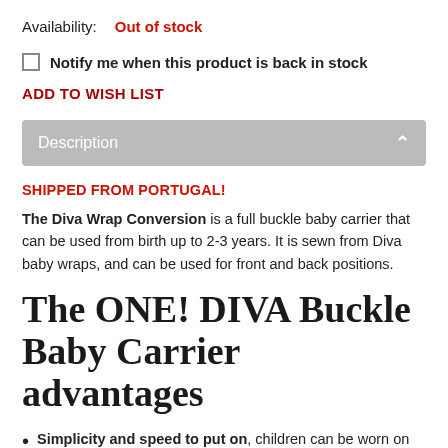Availability:   Out of stock
Notify me when this product is back in stock
ADD TO WISH LIST
Description
SHIPPED FROM PORTUGAL!
The Diva Wrap Conversion is a full buckle baby carrier that can be used from birth up to 2-3 years. It is sewn from Diva baby wraps, and can be used for front and back positions.
The ONE! DIVA Buckle Baby Carrier advantages
Simplicity and speed to put on, children can be worn on the front or on the back.